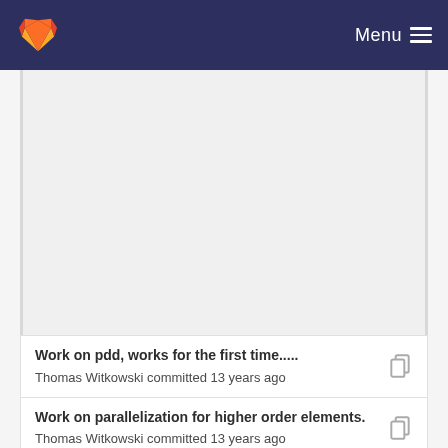Menu
[Figure (other): Large blank/empty content area with light gray background]
Work on pdd, works for the first time.....
Thomas Witkowski committed 13 years ago
Work on parallelization for higher order elements.
Thomas Witkowski committed 13 years ago